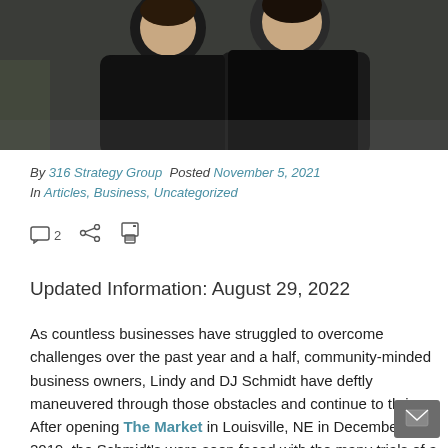[Figure (photo): Two people smiling, wearing black shirts, standing outdoors on a street, photographed from a slightly lower angle. The background shows storefronts and trees.]
By 316 Strategy Group  Posted November 5, 2021
 In Articles, Business, Uncategorized
[Figure (infographic): Comment icon with number 2, share icon, and print icon displayed as action buttons below the article metadata.]
Updated Information: August 29, 2022
As countless businesses have struggled to overcome challenges over the past year and a half, community-minded business owners, Lindy and DJ Schmidt have deftly maneuvered through those obstacles and continue to thrive.  After opening The Market in Louisville, NE in December of 2019, the Schmidt's were soon faced with the many trials of a new business in small-town Nebraska